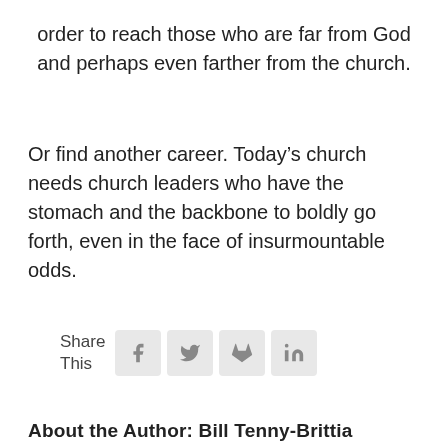order to reach those who are far from God and perhaps even farther from the church.
Or find another career. Today's church needs church leaders who have the stomach and the backbone to boldly go forth, even in the face of insurmountable odds.
Share This
About the Author: Bill Tenny-Brittian